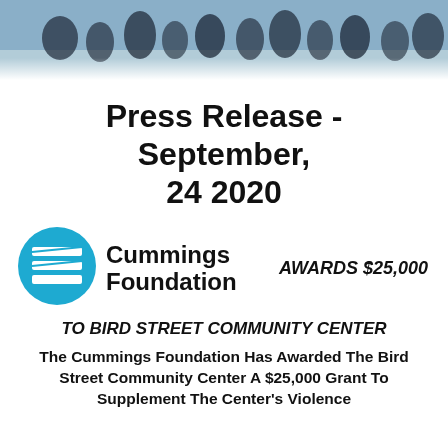[Figure (photo): Banner photo showing a group of people outdoors, used as page header image]
Press Release - September, 24 2020
[Figure (logo): Cummings Foundation logo with blue circle containing stacked horizontal bars, followed by text 'Cummings Foundation']
AWARDS $25,000
TO BIRD STREET COMMUNITY CENTER
The Cummings Foundation Has Awarded The Bird Street Community Center A $25,000 Grant To Supplement The Center's Violence